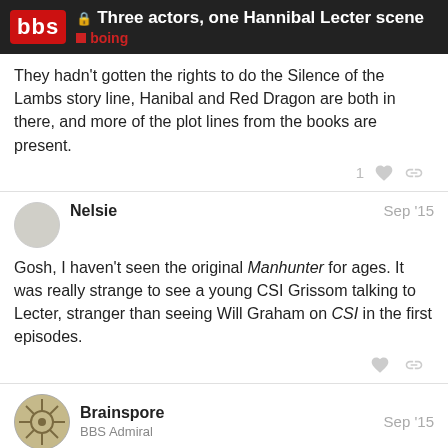Three actors, one Hannibal Lecter scene | boing
They hadn't gotten the rights to do the Silence of the Lambs story line, Hanibal and Red Dragon are both in there, and more of the plot lines from the books are present.
Nelsie Sep '15
Gosh, I haven't seen the original Manhunter for ages. It was really strange to see a young CSI Grissom talking to Lecter, stranger than seeing Will Graham on CSI in the first episodes.
Brainspore Sep '15
BBS Admiral